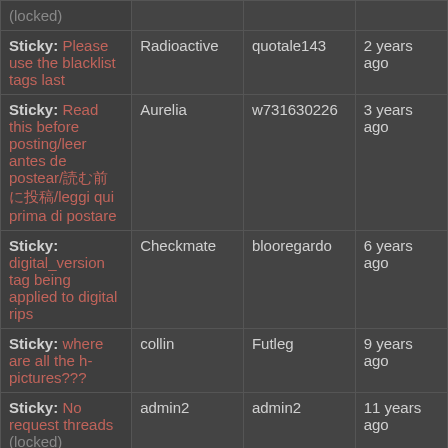| Topic | Forum | Author | Date |
| --- | --- | --- | --- |
| (locked) |  |  |  |
| Sticky: Please use the blacklist tags last | Radioactive | quotale143 | 2 years ago |
| Sticky: Read this before posting/leer antes de postear/読む前に投稿/leggi qui prima di postare | Aurelia | w731630226 | 3 years ago |
| Sticky: digital_version tag being applied to digital rips | Checkmate | blooregardo | 6 years ago |
| Sticky: where are all the h-pictures??? | collin | Futleg | 9 years ago |
| Sticky: No request threads (locked) | admin2 | admin2 | 11 years ago |
| Scans of tutorial books last | crim | monkie2 | about 9 hours a |